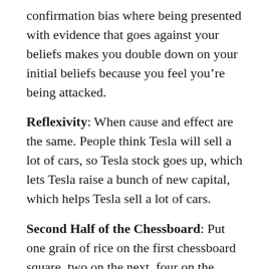confirmation bias where being presented with evidence that goes against your beliefs makes you double down on your initial beliefs because you feel you’re being attacked.
Reflexivity: When cause and effect are the same. People think Tesla will sell a lot of cars, so Tesla stock goes up, which lets Tesla raise a bunch of new capital, which helps Tesla sell a lot of cars.
Second Half of the Chessboard: Put one grain of rice on the first chessboard square, two on the next, four on the next, then eight, then sixteen, etc, doubling the amount of rice on each square. When